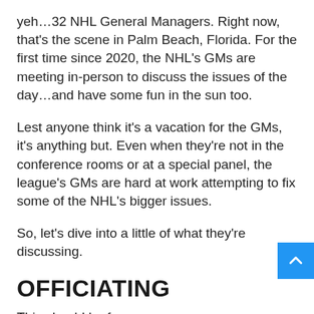yeh...32 NHL General Managers. Right now, that's the scene in Palm Beach, Florida. For the first time since 2020, the NHL's GMs are meeting in-person to discuss the issues of the day...and have some fun in the sun too.
Lest anyone think it's a vacation for the GMs, it's anything but. Even when they're not in the conference rooms or at a special panel, the league's GMs are hard at work attempting to fix some of the NHL's bigger issues.
So, let's dive into a little of what they're discussing.
OFFICIATING
This should be fun.